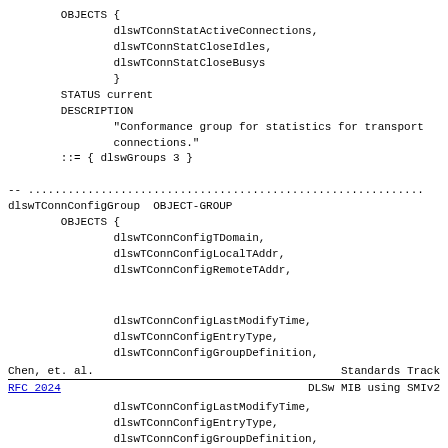OBJECTS {
                dlswTConnStatActiveConnections,
                dlswTConnStatCloseIdles,
                dlswTConnStatCloseBusys
                }
        STATUS current
        DESCRIPTION
                "Conformance group for statistics for transport
                connections."
        ::= { dlswGroups 3 }

-- ............................................................
dlswTConnConfigGroup  OBJECT-GROUP
        OBJECTS {
                dlswTConnConfigTDomain,
                dlswTConnConfigLocalTAddr,
                dlswTConnConfigRemoteTAddr,
Chen, et. al.                    Standards Track
RFC 2024                    DLSw MIB using SMIv2
dlswTConnConfigLastModifyTime,
                dlswTConnConfigEntryType,
                dlswTConnConfigGroupDefinition,